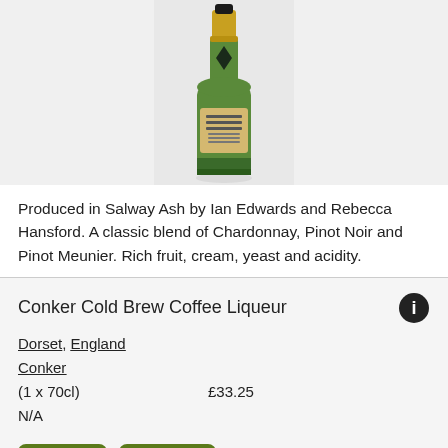[Figure (photo): A bottle of sparkling wine with gold foil top and cream label, on a white/grey background.]
Produced in Salway Ash by Ian Edwards and Rebecca Hansford. A classic blend of Chardonnay, Pinot Noir and Pinot Meunier. Rich fruit, cream, yeast and acidity.
Conker Cold Brew Coffee Liqueur
Dorset, England
Conker
(1 x 70cl)	£33.25
N/A